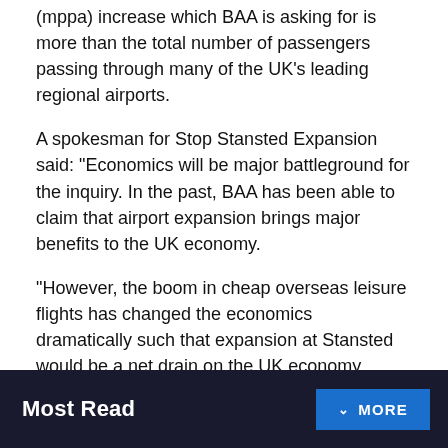(mppa) increase which BAA is asking for is more than the total number of passengers passing through many of the UK's leading regional airports.
A spokesman for Stop Stansted Expansion said: "Economics will be major battleground for the inquiry. In the past, BAA has been able to claim that airport expansion brings major benefits to the UK economy.
"However, the boom in cheap overseas leisure flights has changed the economics dramatically such that expansion at Stansted would be a net drain on the UK economy, rather than a benefit."
Mr Hill told the inquiry: "Stansted is predicted to remain an airport predominantly serving the low-cost leisure market.
Most Read